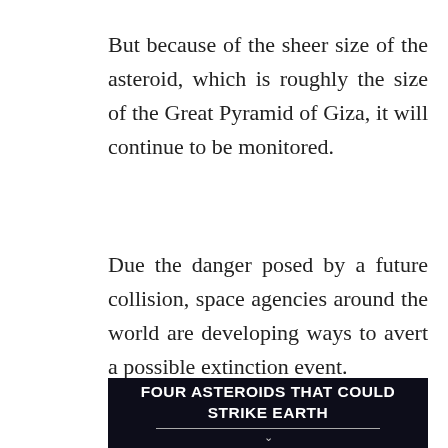But because of the sheer size of the asteroid, which is roughly the size of the Great Pyramid of Giza, it will continue to be monitored.
Due the danger posed by a future collision, space agencies around the world are developing ways to avert a possible extinction event.
[Figure (infographic): Dark background infographic banner with bold white text reading 'FOUR ASTEROIDS THAT COULD STRIKE EARTH' with a horizontal divider line beneath and a downward chevron indicator.]